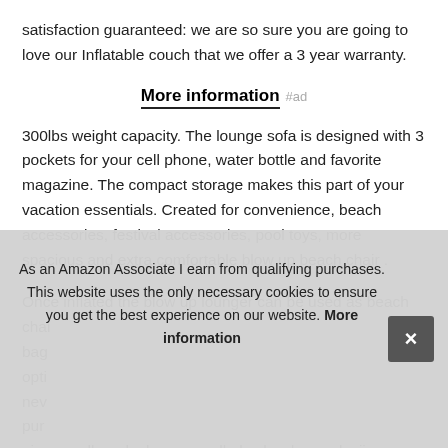satisfaction guaranteed: we are so sure you are going to love our Inflatable couch that we offer a 3 year warranty.
More information #ad
300lbs weight capacity. The lounge sofa is designed with 3 pockets for your cell phone, water bottle and favorite magazine. The compact storage makes this part of your vacation essentials. Created for convenience, beach accessories, festival accessories, pool toys, more spacious and extra comfortable blow up beach chair .
Once inflated the blow up lounger can be used as beach chai... bag... opti... nev... pur... aire para llenarlo. luego enrolle los bordes. y clavija para
As an Amazon Associate I earn from qualifying purchases. This website uses the only necessary cookies to ensure you get the best experience on our website. More information